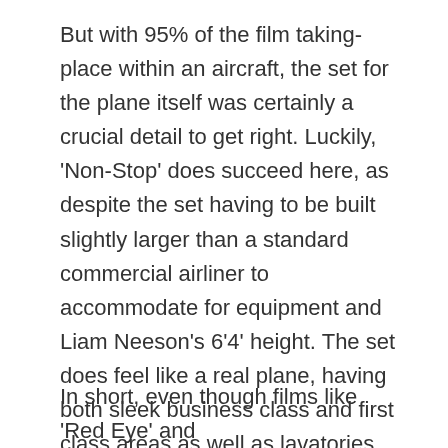But with 95% of the film taking-place within an aircraft, the set for the plane itself was certainly a crucial detail to get right. Luckily, 'Non-Stop' does succeed here, as despite the set having to be built slightly larger than a standard commercial airliner to accommodate for equipment and Liam Neeson's 6'4' height. The set does feel like a real plane, having both sleek business class and first class areas as well as lavatories and a crew rest compartment, all of which are very crampt and dimly lit, as the story takes place over the course of one night. This realism is even more impressive considering that the aircraft and airline are clearly fictional, as the aircraft type is never referred to yet its cabin interior and flight deck layout doesn't match any real aircraft design.
In short, even though films like 'Red Eye' and